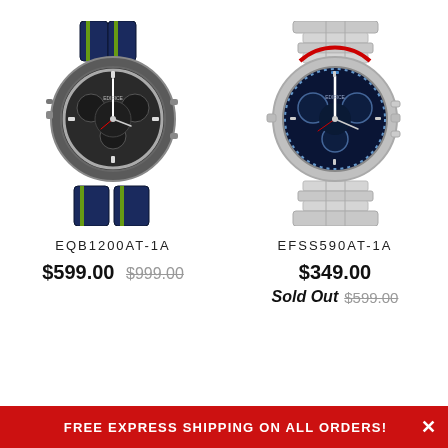[Figure (photo): Casio Edifice EQB1200AT-1A chronograph watch with dark grey/gunmetal case and navy/green striped leather strap]
EQB1200AT-1A
$599.00 $999.00
[Figure (photo): Casio Edifice EFSS590AT-1A chronograph watch with silver stainless steel case and bracelet, dark blue dial]
EFSS590AT-1A
$349.00
Sold Out $599.00
FREE EXPRESS SHIPPING ON ALL ORDERS!